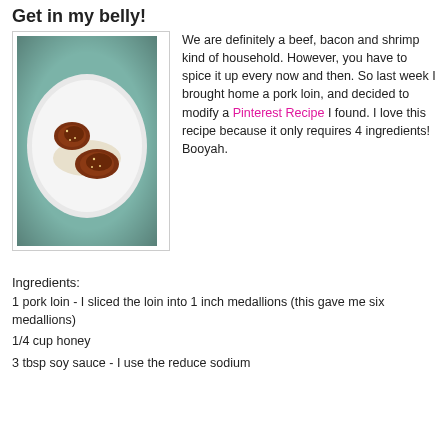Get in my belly!
[Figure (photo): A white plate with two glazed pork medallions served on a bed of rice, placed on a teal/green tablecloth. Photo has a slight vignette border.]
We are definitely a beef, bacon and shrimp kind of household. However, you have to spice it up every now and then. So last week I brought home a pork loin, and decided to modify a Pinterest Recipe I found. I love this recipe because it only requires 4 ingredients! Booyah.
Ingredients:
1 pork loin - I sliced the loin into 1 inch medallions (this gave me six medallions)
1/4 cup honey
3 tbsp soy sauce - I use the reduce sodium...